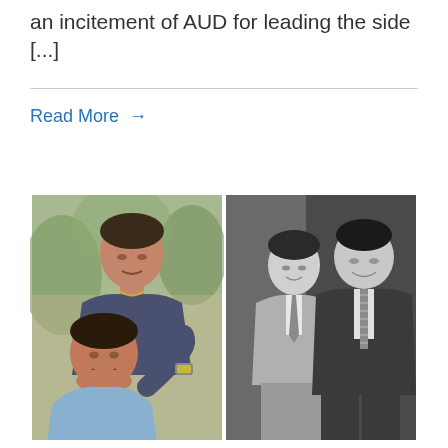an incitement of AUD for leading the side [...]
Read More →
[Figure (photo): Two side-by-side photos: left is a color photo of two men posing together outdoors, right is a black and white photo of two men standing together at what appears to be an event.]